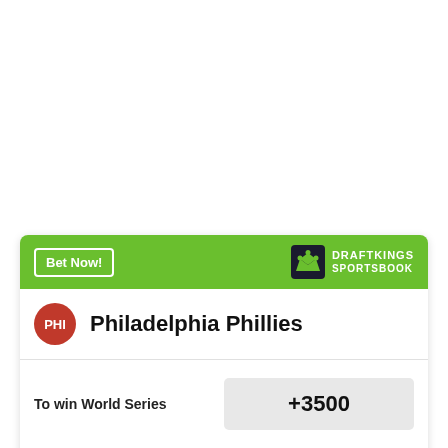[Figure (infographic): DraftKings Sportsbook betting card for Philadelphia Phillies showing odds to win World Series (+3500) and NL Pennant (+1500)]
Bet Now!
DRAFTKINGS SPORTSBOOK
Philadelphia Phillies
To win World Series
+3500
To win NL Pennant
+1500